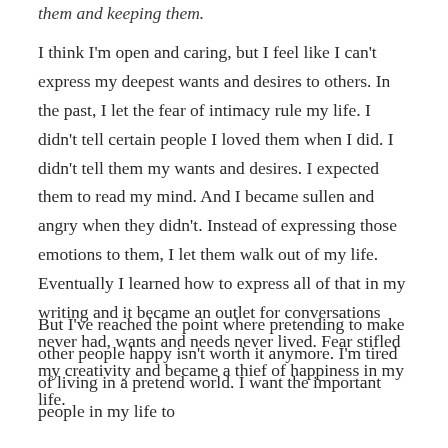them and keeping them.
I think I'm open and caring, but I feel like I can't express my deepest wants and desires to others. In the past, I let the fear of intimacy rule my life. I didn't tell certain people I loved them when I did. I didn't tell them my wants and desires. I expected them to read my mind. And I became sullen and angry when they didn't. Instead of expressing those emotions to them, I let them walk out of my life. Eventually I learned how to express all of that in my writing and it became an outlet for conversations never had, wants and needs never lived. Fear stifled my creativity and became a thief of happiness in my life.
But I've reached the point where pretending to make other people happy isn't worth it anymore. I'm tired of living in a pretend world. I want the important people in my life to